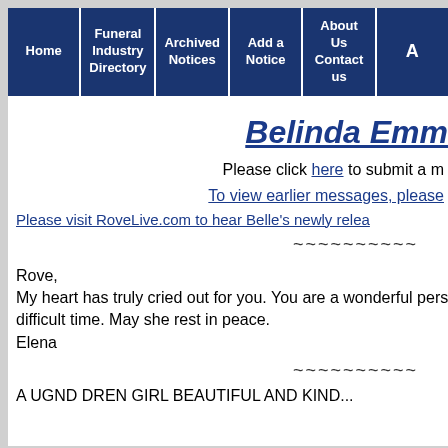Home | Funeral Industry Directory | Archived Notices | Add a Notice | About Us Contact us | A
Belinda Emm
Please click here to submit a m
To view earlier messages, please
Please visit RoveLive.com to hear Belle's newly relea
~~~~~~~~~~
Rove,
My heart has truly cried out for you. You are a wonderful perso difficult time. May she rest in peace.
Elena
~~~~~~~~~~
A UGND DREN GIRL BEAUTIFUL AND KIND...